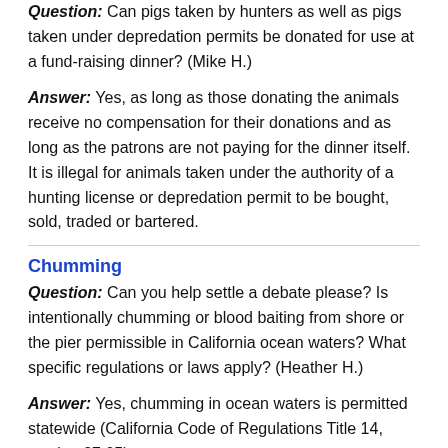Question: Can pigs taken by hunters as well as pigs taken under depredation permits be donated for use at a fund-raising dinner? (Mike H.)
Answer: Yes, as long as those donating the animals receive no compensation for their donations and as long as the patrons are not paying for the dinner itself. It is illegal for animals taken under the authority of a hunting license or depredation permit to be bought, sold, traded or bartered.
Chumming
Question: Can you help settle a debate please? Is intentionally chumming or blood baiting from shore or the pier permissible in California ocean waters? What specific regulations or laws apply? (Heather H.)
Answer: Yes, chumming in ocean waters is permitted statewide (California Code of Regulations Title 14, section 27.05).